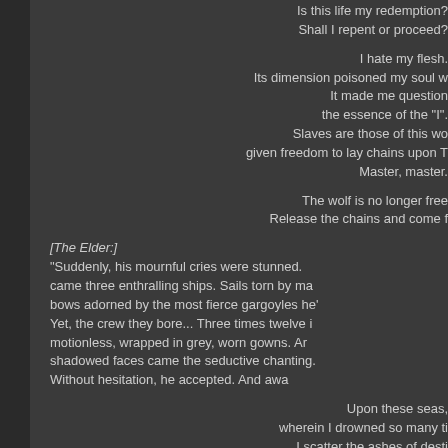Is this life my redemption?
Shall I repent or proceed?
I hate my flesh.
Its dimension poisoned my soul w
It made me question
the essence of the "I".
Slaves are those of this wo
given freedom to lay chains upon T
Master, master.
The wolf is no longer free
Release the chains and come f
[The Elder:]
"Suddenly, his mournful cries were stunned.
came three enthralling ships. Sails torn by ma
bows adorned by the most fierce gargoyles he'
Yet, the crew they bore... Three times twelve i
motionless, wrapped in grey, worn gowns. Ar
shadowed faces came the seductive chanting.
Without hesitation, he accepted. And awa
Upon these seas,
wherein I drowned so many ti
I scatter the ashes of desti
Still my flames are in hunge
With fire in my heart
shall I greet the shores ahe
Though, I know not what will